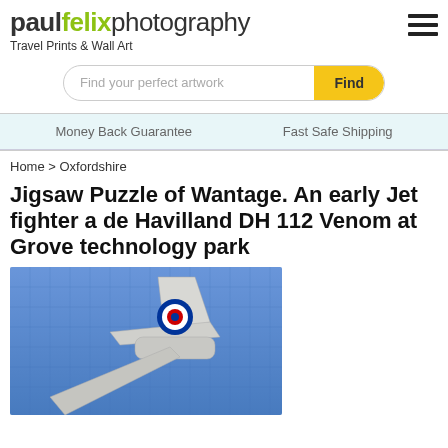paulfelixphotography
Travel Prints & Wall Art
Find your perfect artwork
Money Back Guarantee    Fast Safe Shipping
Home > Oxfordshire
Jigsaw Puzzle of Wantage. An early Jet fighter a de Havilland DH 112 Venom at Grove technology park
[Figure (photo): Jigsaw puzzle image showing the tail fin of a de Havilland DH 112 Venom jet fighter with RAF roundel markings, against a blue sky background, assembled as a jigsaw puzzle.]